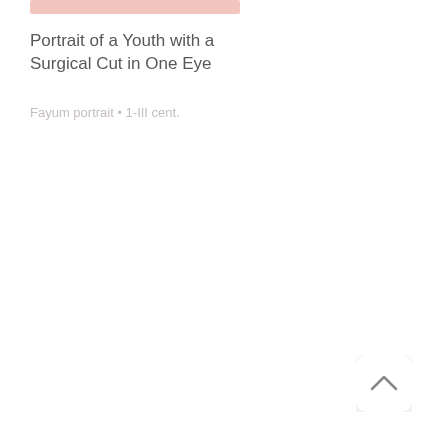[Figure (photo): Partial pink/rose-toned image strip at the top of the page, likely the bottom edge of a portrait artwork image]
Portrait of a Youth with a Surgical Cut in One Eye
Fayum portrait • 1-III cent.
[Figure (other): Back-to-top button in the bottom right corner: a white rounded square with a gray chevron/caret pointing upward]